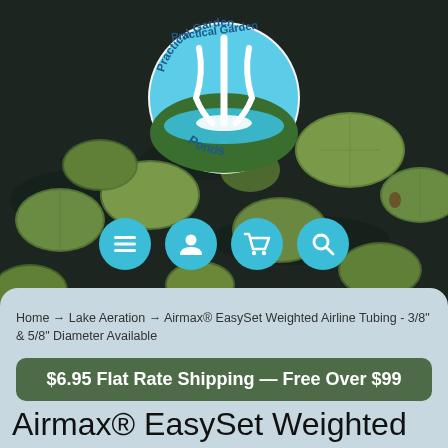[Figure (photo): Lily pad pond background photo with dark water and green lily pads]
[Figure (logo): Practical Garden Ponds circular logo with white waterfall/fountain graphic on blue background]
[Figure (infographic): Four circular cyan navigation icon buttons: hamburger menu, person/account, shopping cart, magnifying glass/search]
Home → Lake Aeration → Airmax® EasySet Weighted Airline Tubing - 3/8" & 5/8" Diameter Available
$6.95 Flat Rate Shipping — Free Over $99
Airmax® EasySet Weighted Airline Tubing - 3/8" & 5/8"